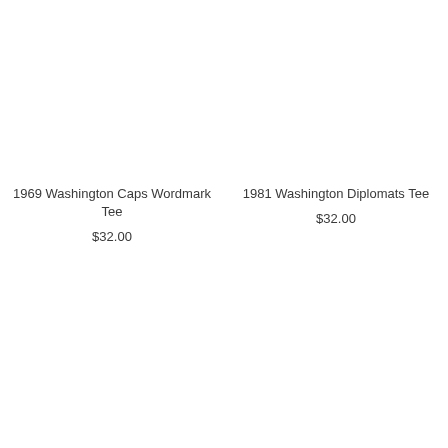1969 Washington Caps Wordmark Tee
$32.00
1981 Washington Diplomats Tee
$32.00